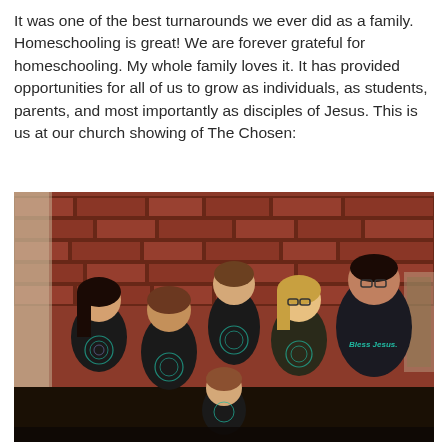It was one of the best turnarounds we ever did as a family. Homeschooling is great!  We are forever grateful for homeschooling.  My whole family loves it.  It has provided opportunities for all of us to grow as individuals, as students, parents, and most importantly as disciples of Jesus.  This is us at our church showing of The Chosen:
[Figure (photo): A family group photo of 7 people standing in front of a brick wall. Most are wearing black t-shirts with a spiral design. The man on the right wears a dark hoodie with 'Bless Jesus.' written in teal. There is a young child in the front center.]